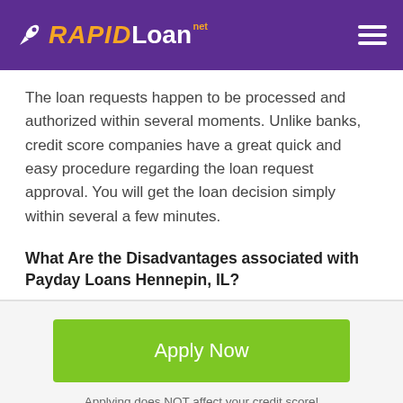RAPIDLoan.net
The loan requests happen to be processed and authorized within several moments. Unlike banks, credit score companies have a great quick and easy procedure regarding the loan request approval. You will get the loan decision simply within several a few minutes.
What Are the Disadvantages associated with Payday Loans Hennepin, IL?
[Figure (other): Green Apply Now button]
Applying does NOT affect your credit score! No credit check to apply.